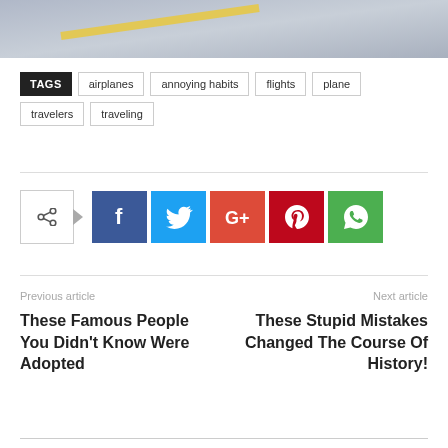[Figure (photo): Partial photo showing a road with a yellow line, foggy/hazy atmosphere, person visible at right edge]
TAGS  airplanes  annoying habits  flights  plane  travelers  traveling
[Figure (infographic): Social share buttons: share toggle icon, Facebook, Twitter, Google+, Pinterest, WhatsApp]
Previous article
These Famous People You Didn't Know Were Adopted
Next article
These Stupid Mistakes Changed The Course Of History!